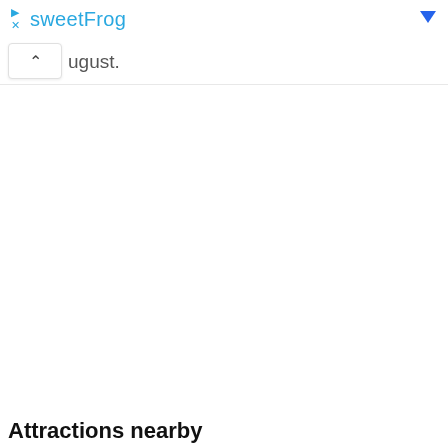sweetFrog
ugust.
Attractions nearby